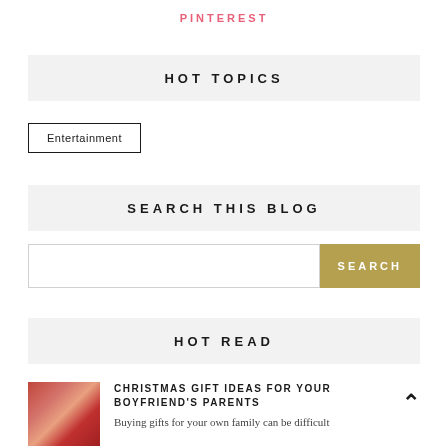PINTEREST
HOT TOPICS
Entertainment
SEARCH THIS BLOG
HOT READ
CHRISTMAS GIFT IDEAS FOR YOUR BOYFRIEND'S PARENTS
Buying gifts for your own family can be difficult